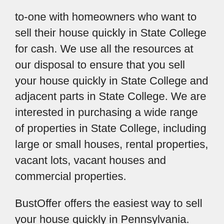to-one with homeowners who want to sell their house quickly in State College for cash. We use all the resources at our disposal to ensure that you sell your house quickly in State College and adjacent parts in State College. We are interested in purchasing a wide range of properties in State College, including large or small houses, rental properties, vacant lots, vacant houses and commercial properties.
BustOffer offers the easiest way to sell your house quickly in Pennsylvania. You will not find a better option out there. We usually complete the entire sales process in 5 to 7 days, while offering you the best cash value for your house without commissions or hidden fees. Contact us today to find out how you can quickly sell your house in Pennsylvania. Why remain uncertain about your chances when we can give you all the information you need to buy your home? We promise to meet your